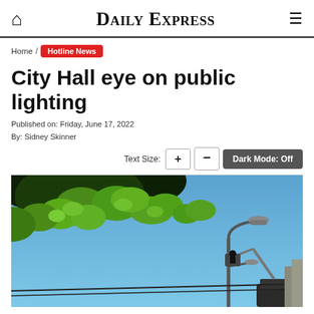Daily Express
Home / Hotline News
City Hall eye on public lighting
Published on: Friday, June 17, 2022
By: Sidney Skinner
Text Size: + - Dark Mode: Off
[Figure (photo): A street lamp maintenance worker in a cherry picker/bucket truck beneath overhanging green tree leaves against a blue sky, working on a street light fixture.]